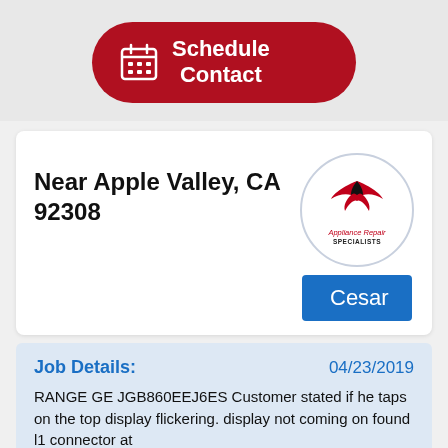[Figure (illustration): Red rounded button with calendar icon and text 'Schedule Contact']
Near Apple Valley, CA 92308
[Figure (logo): Appliance Repair Specialists logo inside a circle with a bird/eagle graphic]
Cesar
Job Details:
04/23/2019
RANGE GE JGB860EEJ6ES Customer stated if he taps on the top display flickering. display not coming on found l1 connector at